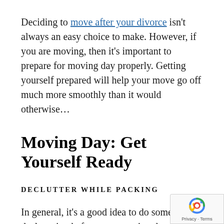Deciding to move after your divorce isn't always an easy choice to make. However, if you are moving, then it's important to prepare for moving day properly. Getting yourself prepared will help your move go off much more smoothly than it would otherwise…
Moving Day: Get Yourself Ready
DECLUTTER WHILE PACKING
In general, it's a good idea to do some decluttering before your moving day. A common issue people run into is that they'll